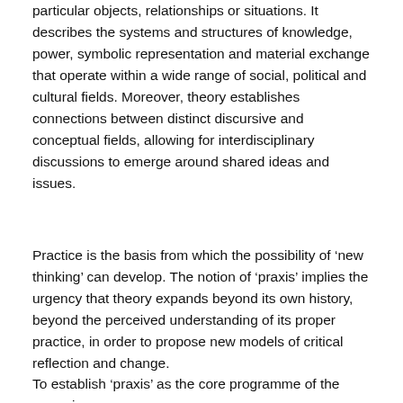particular objects, relationships or situations. It describes the systems and structures of knowledge, power, symbolic representation and material exchange that operate within a wide range of social, political and cultural fields. Moreover, theory establishes connections between distinct discursive and conceptual fields, allowing for interdisciplinary discussions to emerge around shared ideas and issues.
Practice is the basis from which the possibility of ‘new thinking’ can develop. The notion of ‘praxis’ implies the urgency that theory expands beyond its own history, beyond the perceived understanding of its proper practice, in order to propose new models of critical reflection and change.
To establish ‘praxis’ as the core programme of the group is